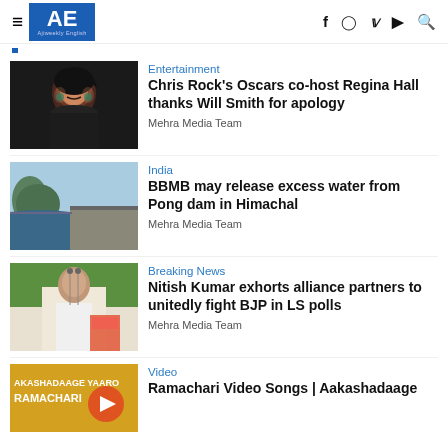AE Ajiweekly English
[Figure (photo): Woman portrait – Chris Rock's Oscars co-host Regina Hall]
Entertainment
Chris Rock's Oscars co-host Regina Hall thanks Will Smith for apology
Mehra Media Team
[Figure (photo): Lake and dam – Pong dam in Himachal]
India
BBMB may release excess water from Pong dam in Himachal
Mehra Media Team
[Figure (photo): Politician at podium – Nitish Kumar]
Breaking News
Nitish Kumar exhorts alliance partners to unitedly fight BJP in LS polls
Mehra Media Team
[Figure (photo): Video thumbnail – Ramachari AKASHADAAGE YAARO RAMACHARI]
Video
Ramachari Video Songs | Aakashadaage